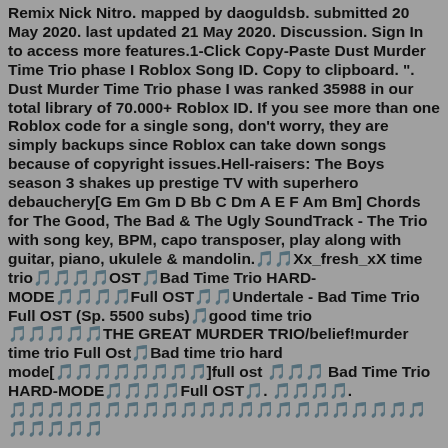Remix Nick Nitro. mapped by daoguldsb. submitted 20 May 2020. last updated 21 May 2020. Discussion. Sign In to access more features.1-Click Copy-Paste Dust Murder Time Trio phase I Roblox Song ID. Copy to clipboard. ". Dust Murder Time Trio phase I was ranked 35988 in our total library of 70.000+ Roblox ID. If you see more than one Roblox code for a single song, don't worry, they are simply backups since Roblox can take down songs because of copyright issues.Hell-raisers: The Boys season 3 shakes up prestige TV with superhero debauchery[G Em Gm D Bb C Dm A E F Am Bm] Chords for The Good, The Bad & The Ugly SoundTrack - The Trio with song key, BPM, capo transposer, play along with guitar, piano, ukulele & mandolin.🎵🎵Xx_fresh_xX time trio🎵🎵🎵🎵OST🎵Bad Time Trio HARD-MODE🎵🎵🎵🎵Full OST🎵🎵Undertale - Bad Time Trio Full OST (Sp. 5500 subs)🎵good time trio 🎵🎵🎵🎵🎵THE GREAT MURDER TRIO/belief!murder time trio Full Ost🎵Bad time trio hard mode[🎵🎵🎵🎵🎵🎵🎵🎵]full ost 🎵🎵🎵 Bad Time Trio HARD-MODE🎵🎵🎵🎵Full OST🎵. 🎵🎵🎵🎵. 🎵🎵🎵🎵🎵🎵🎵🎵🎵🎵🎵🎵🎵🎵🎵🎵🎵🎵🎵🎵🎵🎵🎵🎵🎵🎵🎵